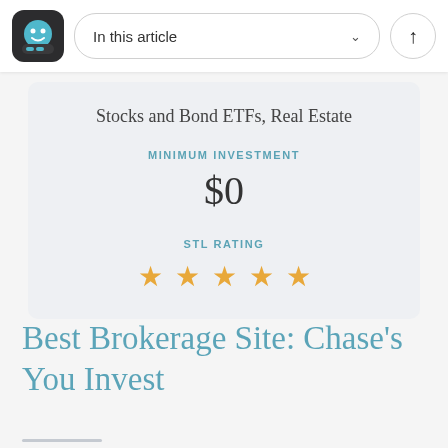In this article
Stocks and Bond ETFs, Real Estate
MINIMUM INVESTMENT
$0
STL RATING
[Figure (other): 5 gold stars rating]
Best Brokerage Site: Chase's You Invest